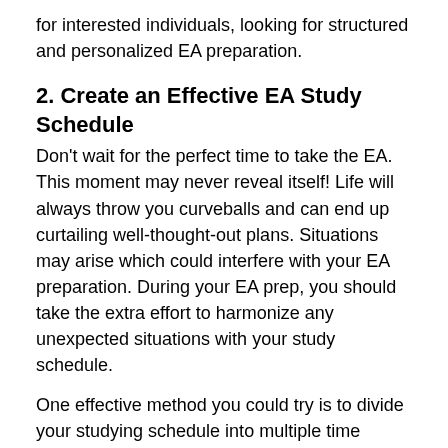for interested individuals, looking for structured and personalized EA preparation.
2. Create an Effective EA Study Schedule
Don't wait for the perfect time to take the EA. This moment may never reveal itself! Life will always throw you curveballs and can end up curtailing well-thought-out plans. Situations may arise which could interfere with your EA preparation. During your EA prep, you should take the extra effort to harmonize any unexpected situations with your study schedule.
One effective method you could try is to divide your studying schedule into multiple time frames throughout the day so that you can concentrate in smaller doses rather than studying for 5-7 hours straight and losing your ever so vital focus. Study the materials during the weekdays and devote some part of your weekend to practice tests where necessary. Those, in turn, will help you to assess your progress and help you to understand your main strengths and weaknesses.